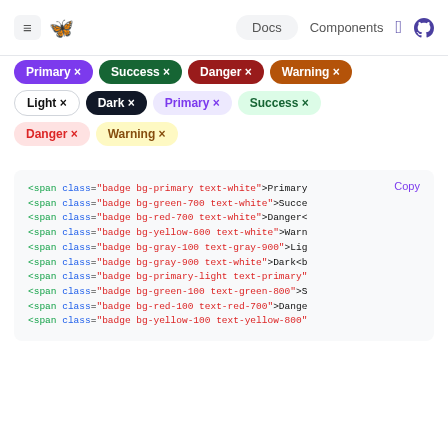≡ 🦋 Josanie   Docs   Components   GitHub
[Figure (other): Badge components displayed in various color variants: Primary, Success, Danger, Warning, Light, Dark, Primary (light), Success (light), Danger (light), Warning (light) — each with an X close button]
<span class="badge bg-primary text-white">Primary
<span class="badge bg-green-700 text-white">Succe
<span class="badge bg-red-700 text-white">Danger<
<span class="badge bg-yellow-600 text-white">Warn
<span class="badge bg-gray-100 text-gray-900">Lig
<span class="badge bg-gray-900 text-white">Dark<b
<span class="badge bg-primary-light text-primary"
<span class="badge bg-green-100 text-green-800">S
<span class="badge bg-red-100 text-red-700">Dange
<span class="badge bg-yellow-100 text-yellow-800"